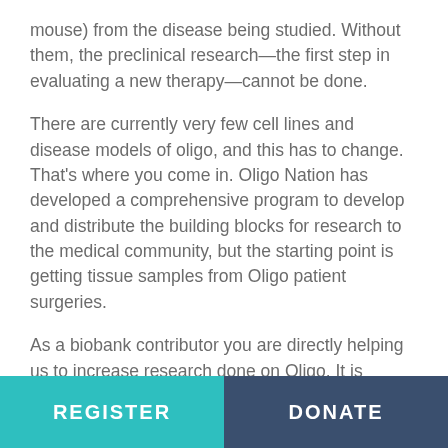mouse) from the disease being studied. Without them, the preclinical research—the first step in evaluating a new therapy—cannot be done.
There are currently very few cell lines and disease models of oligo, and this has to change. That's where you come in. Oligo Nation has developed a comprehensive program to develop and distribute the building blocks for research to the medical community, but the starting point is getting tissue samples from Oligo patient surgeries.
As a biobank contributor you are directly helping us to increase research done on Oligo. It is important to understand that making a donation to the biobank in no way effects your care or any research that may go on at the
REGISTER    DONATE